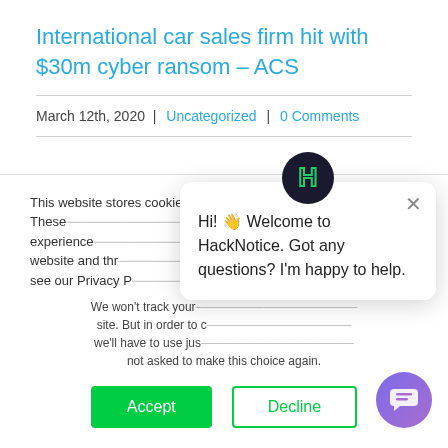International car sales firm hit with $30m cyber ransom – ACS
March 12th, 2020 | Uncategorized | 0 Comments
This website stores cookies on your computer. These are used to improve your website experience and provide more personalized services to you, both on this website and through other media. To find out more about the cookies we use, see our Privacy P...
We won't track your information when you visit our site. But in order to comply with your preferences, we'll have to use just one tiny cookie so that you're not asked to make this choice again.
Hi! 👋 Welcome to HackNotice. Got any questions? I'm happy to help.